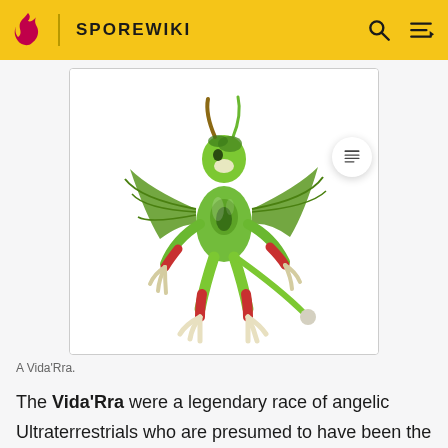SPOREWIKI
[Figure (illustration): A green, winged, anthropomorphic alien creature with horns, clawed feet, and red-accented limbs standing in a pose. This is a Vida'Rra creature from the Spore game/wiki.]
A Vida'Rra.
The Vida'Rra were a legendary race of angelic Ultraterrestrials who are presumed to have been the very